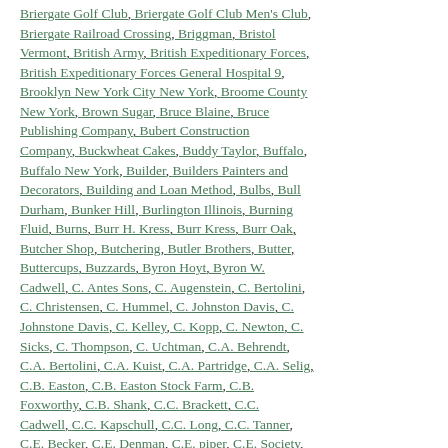Briergate Golf Club, Briergate Golf Club Men's Club, Briergate Railroad Crossing, Briggman, Bristol Vermont, British Army, British Expeditionary Forces, British Expeditionary Forces General Hospital 9, Brooklyn New York City New York, Broome County New York, Brown Sugar, Bruce Blaine, Bruce Publishing Company, Bubert Construction Company, Buckwheat Cakes, Buddy Taylor, Buffalo, Buffalo New York, Builder, Builders Painters and Decorators, Building and Loan Method, Bulbs, Bull Durham, Bunker Hill, Burlington Illinois, Burning Fluid, Burns, Burr H. Kress, Burr Kress, Burr Oak, Butcher Shop, Butchering, Butler Brothers, Butter, Buttercups, Buzzards, Byron Hoyt, Byron W. Cadwell, C. Antes Sons, C. Augenstein, C. Bertolini, C. Christensen, C. Hummel, C. Johnston Davis, C. Johnstone Davis, C. Kelley, C. Kopp, C. Newton, C. Sicks, C. Thompson, C. Uchtman, C.A. Behrendt, C.A. Bertolini, C.A. Kuist, C.A. Partridge, C.A. Selig, C.B. Easton, C.B. Easton Stock Farm, C.B. Foxworthy, C.B. Shank, C.C. Brackett, C.C. Cadwell, C.C. Kapschull, C.C. Long, C.C. Tanner, C.E. Becker, C.E. Denman, C.E. piper, C.E. Society, C.G. Muhlke, C.G. Muhlke Farm, C.G. Pettis, C.H. Galloway, c.H. Johnston, C.H. Juhrend, C.H.